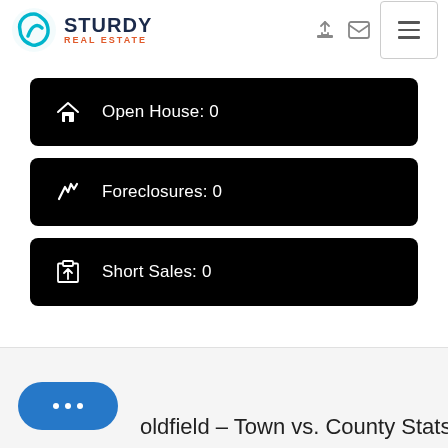[Figure (logo): Sturdy Real Estate logo with cyan S icon and dark blue STURDY text, orange REAL ESTATE subtext]
Open House: 0
Foreclosures: 0
Short Sales: 0
oldfield - Town vs. County Stats